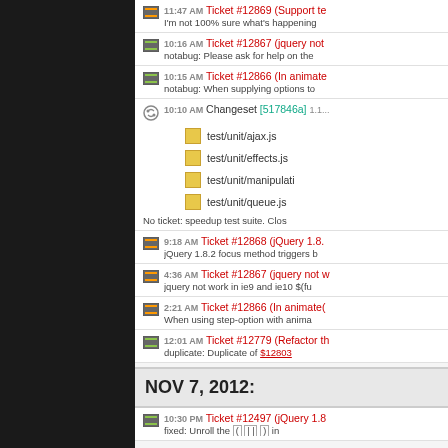[Figure (screenshot): Dark left navigation panel of a bug tracker/version control web application]
11:47 AM Ticket #12869 (Support te... - I'm not 100% sure what's happening
10:16 AM Ticket #12867 (jquery not... - notabug: Please ask for help on the
10:15 AM Ticket #12866 (In animate... - notabug: When supplying options to
10:10 AM Changeset [517846a] 1.1... - test/unit/ajax.js, test/unit/effects.js, test/unit/manipulati..., test/unit/queue.js - No ticket: speedup test suite. Clos
9:18 AM Ticket #12868 (jQuery 1.8.... - jQuery 1.8.2 focus method triggers b
4:36 AM Ticket #12867 (jquery not w... - jquery not work in ie9 and ie10 $(fu
2:21 AM Ticket #12866 (In animate(... - When using step-option with anima
12:01 AM Ticket #12779 (Refactor th... - duplicate: Duplicate of #12803
NOV 7, 2012:
10:30 PM Ticket #12497 (jQuery 1.8... - fixed: Unroll the ( | | ) in